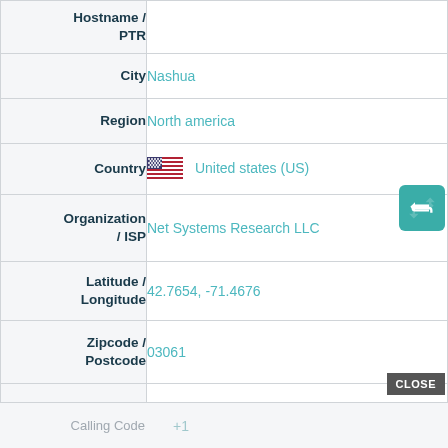| Field | Value |
| --- | --- |
| Hostname / PTR |  |
| City | Nashua |
| Region | North america |
| Country | United states (US) |
| Organization / ISP | Net Systems Research LLC |
| Latitude / Longitude | 42.7654, -71.4676 |
| Zipcode / Postcode | 03061 |
| TimeZone | America/New_York (-5) |
| Calling Code | +1 |